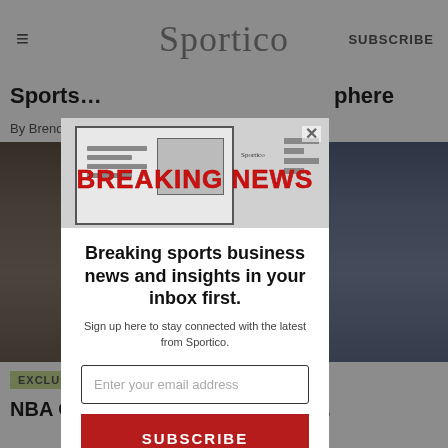≡  Sportico  SUBSCRIBE
Sports... phere
By Brenda... :31 PM
[Figure (photo): Sports arena/stadium crowd photo in background, partially obscured by modal overlay]
[Figure (screenshot): Breaking news modal popup with Sportico branding showing a newspaper mockup and the text BREAKING NEWS]
Breaking sports business news and insights in your inbox first.
Sign up here to stay connected with the latest from Sportico.
Enter your email address
SUBSCRIBE
No, thank you.
EXCLUSIVE
NBA Ow... Branding New Bound...